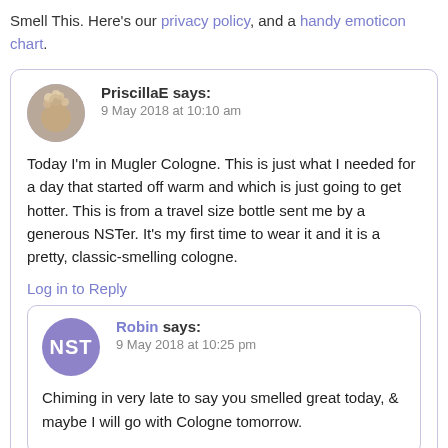Smell This. Here's our privacy policy, and a handy emoticon chart.
PriscillaE says:
9 May 2018 at 10:10 am

Today I'm in Mugler Cologne. This is just what I needed for a day that started off warm and which is just going to get hotter. This is from a travel size bottle sent me by a generous NSTer. It's my first time to wear it and it is a pretty, classic-smelling cologne.

Log in to Reply
Robin says:
9 May 2018 at 10:25 pm

Chiming in very late to say you smelled great today, & maybe I will go with Cologne tomorrow.